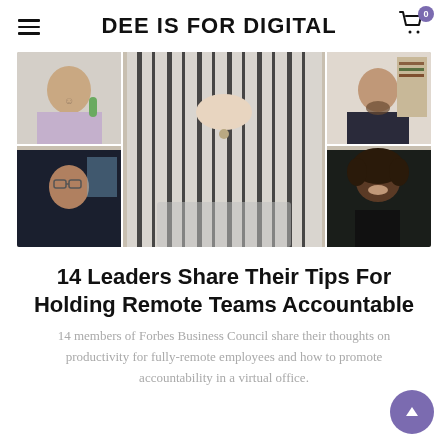DEE IS FOR DIGITAL
[Figure (photo): Video call collage showing a woman in a striped blouse in the center, with four smaller panels showing other participants: a smiling woman, a bearded man in a suit, a man with glasses, and a woman with curly hair.]
14 Leaders Share Their Tips For Holding Remote Teams Accountable
14 members of Forbes Business Council share their thoughts on productivity for fully-remote employees and how to promote accountability in a virtual office.